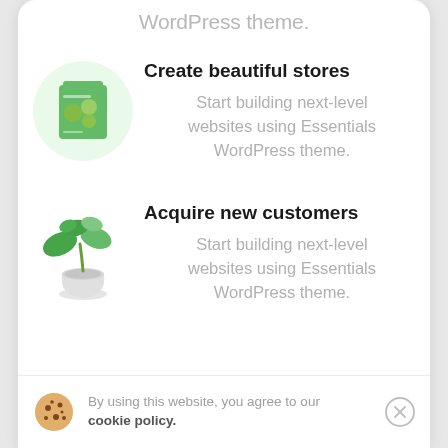WordPress theme.
Create beautiful stores
Start building next-level websites using Essentials WordPress theme.
[Figure (illustration): Green circular background with a green product package (Essentials theme box art)]
Acquire new customers
Start building next-level websites using Essentials WordPress theme.
[Figure (photo): Small potted green plant in a white pot]
By using this website, you agree to our cookie policy.